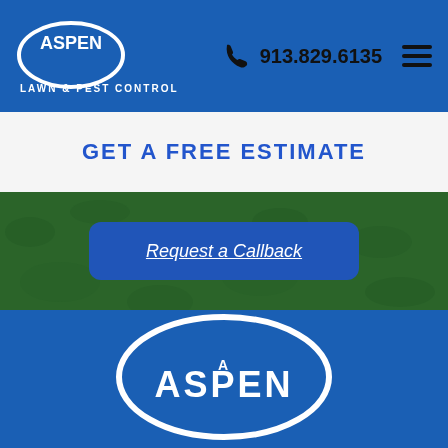Aspen Lawn & Pest Control — 913.829.6135
GET A FREE ESTIMATE
Request a Callback
Free Cost Estimator
[Figure (logo): Aspen Lawn & Pest Control logo — white oval with ASPEN text inside, on blue background footer]